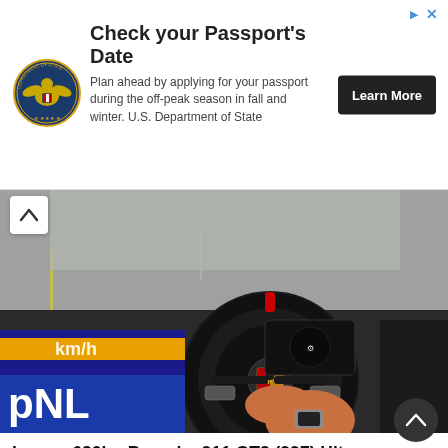[Figure (infographic): US Department of State advertisement banner with seal logo, title 'Check your Passport's Date', body text, and Learn More button]
[Figure (photo): Interior view of a Porsche 911 GT2 (997), showing the driver's hand on the black Porsche steering wheel with the Porsche crest badge, speedometer cluster visible, side mirror showing passing scenery, Dutch police livery visible on left side with 'pNL' text and 'km/h' text, driver wearing a watch]
Insane 620hp Porsche 911 GT2 (997) Hits 200mph On Public Roads